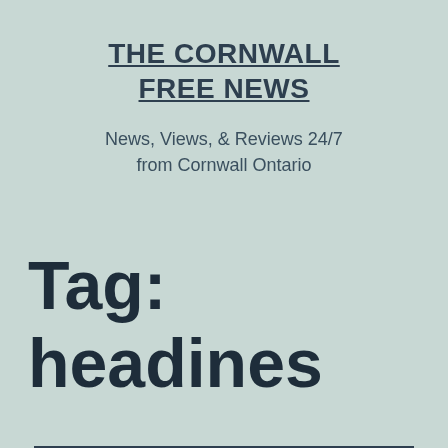THE CORNWALL FREE NEWS
News, Views, & Reviews 24/7 from Cornwall Ontario
Tag: headines